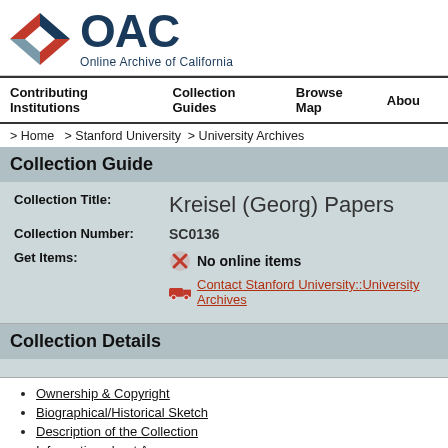[Figure (logo): OAC Online Archive of California logo with geometric diamond/arrow icon in red, dark blue, and grey-blue]
Contributing Institutions   Collection Guides   Browse Map   About
> Home  > Stanford University  > University Archives
Collection Guide
| Field | Value |
| --- | --- |
| Collection Title: | Kreisel (Georg) Papers |
| Collection Number: | SC0136 |
| Get Items: | No online items
Contact Stanford University::University Archives |
Collection Details
Ownership & Copyright
Biographical/Historical Sketch
Description of the Collection
Information about Access
Cite As